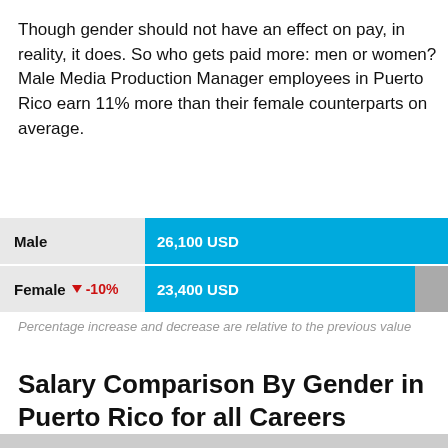Though gender should not have an effect on pay, in reality, it does. So who gets paid more: men or women? Male Media Production Manager employees in Puerto Rico earn 11% more than their female counterparts on average.
[Figure (bar-chart): Gender Pay Comparison]
Percentage increase and decrease are relative to the previous value
Salary Comparison By Gender in Puerto Rico for all Careers